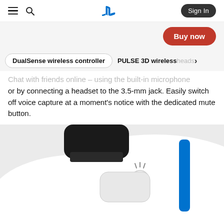PlayStation navigation bar with hamburger menu, search icon, PlayStation logo, and Sign In button
Buy now
DualSense wireless controller   PULSE 3D wireless heads
Chat with friends online – using the built-in microphone or by connecting a headset to the 3.5-mm jack. Easily switch off voice capture at a moment's notice with the dedicated mute button.
[Figure (photo): Close-up photo of a PlayStation 5 DualSense wireless controller showing the top portion with the touchpad mute button and a blue accent stripe on a white body, with a black trigger visible at the top.]